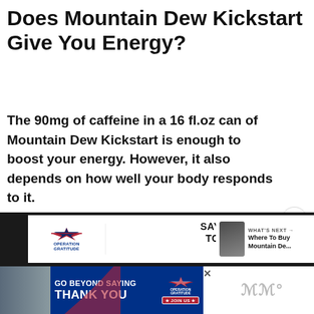Does Mountain Dew Kickstart Give You Energy?
The 90mg of caffeine in a 16 fl.oz can of Mountain Dew Kickstart is enough to boost your energy. However, it also depends on how well your body responds to it.
[Figure (infographic): Advertisement banner for Operation Gratitude: 'Say Thank You to Deployed Troops' with patriotic imagery and cartoon mascot. Below is a 'What's Next' preview panel showing a Mountain Dew can thumbnail with text 'Where To Buy Mountain De...']
[Figure (infographic): Advertisement banner: 'Go Beyond Saying Thank You' with Operation Gratitude logo and 'Join Us' button on dark blue background, with a photo of people on the left side. Weather icon on the right.]